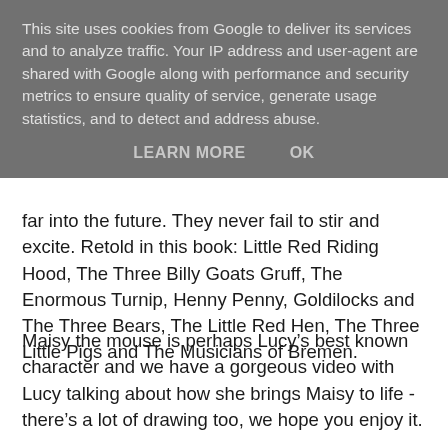This site uses cookies from Google to deliver its services and to analyze traffic. Your IP address and user-agent are shared with Google along with performance and security metrics to ensure quality of service, generate usage statistics, and to detect and address abuse.
LEARN MORE    OK
far into the future. They never fail to stir and excite. Retold in this book: Little Red Riding Hood, The Three Billy Goats Gruff, The Enormous Turnip, Henny Penny, Goldilocks and The Three Bears, The Little Red Hen, The Three Little Pigs and The Musicians of Bremen.
Maisy the mouse is perhaps Lucy’s best known character and we have a gorgeous video with Lucy talking about how she brings Maisy to life - there’s a lot of drawing too, we hope you enjoy it.